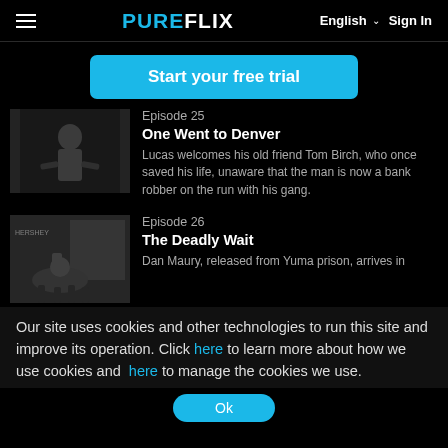PUREFLIX | English | Sign In
Start your free trial
Episode 25
One Went to Denver
Lucas welcomes his old friend Tom Birch, who once saved his life, unaware that the man is now a bank robber on the run with his gang.
[Figure (photo): Black and white still from western TV show, man standing indoors]
Episode 26
The Deadly Wait
Dan Maury, released from Yuma prison, arrives in
[Figure (photo): Black and white still from western TV show, person on horseback near storefront]
Our site uses cookies and other technologies to run this site and improve its operation. Click here to learn more about how we use cookies and here to manage the cookies we use.
Ok